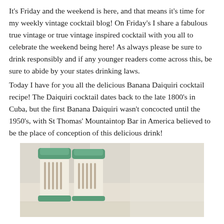It's Friday and the weekend is here, and that means it's time for my weekly vintage cocktail blog! On Friday's I share a fabulous true vintage or true vintage inspired cocktail with you all to celebrate the weekend being here! As always please be sure to drink responsibly and if any younger readers come across this, be sure to abide by your states drinking laws.
Today I have for you all the delicious Banana Daiquiri cocktail recipe! The Daiquiri cocktail dates back to the late 1800's in Cuba, but the first Banana Daiquiri wasn't concocted until the 1950's, with St Thomas' Mountaintop Bar in America believed to be the place of conception of this delicious drink!
[Figure (photo): Vintage cocktail shakers with green lids/caps, cream/white body with decorative markings, photographed on a light surface]